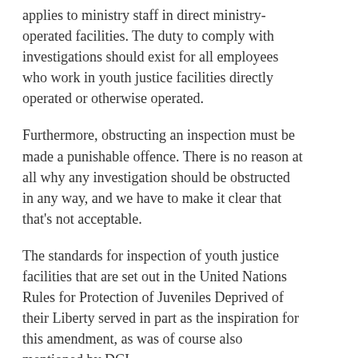applies to ministry staff in direct ministry-operated facilities. The duty to comply with investigations should exist for all employees who work in youth justice facilities directly operated or otherwise operated.
Furthermore, obstructing an inspection must be made a punishable offence. There is no reason at all why any investigation should be obstructed in any way, and we have to make it clear that that's not acceptable.
The standards for inspection of youth justice facilities that are set out in the United Nations Rules for Protection of Juveniles Deprived of their Liberty served in part as the inspiration for this amendment, as was of course also mentioned by DCI.
In addition, it needs to be made clear that investigations must be time-limited. We can't have investigations dragging on forever and ever, because the issue is the information that's required to be submitted as well as the